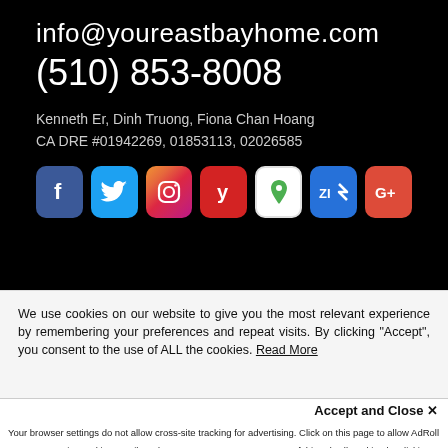info@youreastbayhome.com
(510) 853-8008
Kenneth Er, Dinh Truong, Fiona Chan Hoang
CA DRE #01942269, 01853113, 02026585
[Figure (infographic): Social media icons: Facebook, Twitter, Instagram, Yelp, Google Maps, Zillow, Google+]
We use cookies on our website to give you the most relevant experience by remembering your preferences and repeat visits. By clicking “Accept”, you consent to the use of ALL the cookies. Read More
Accept and Close ×
Your browser settings do not allow cross-site tracking for advertising. Click on this page to allow AdRoll to use cross-site tracking to tailor ads to you. Learn more or opt out of this AdRoll tracking by clicking here. This message only appears once.